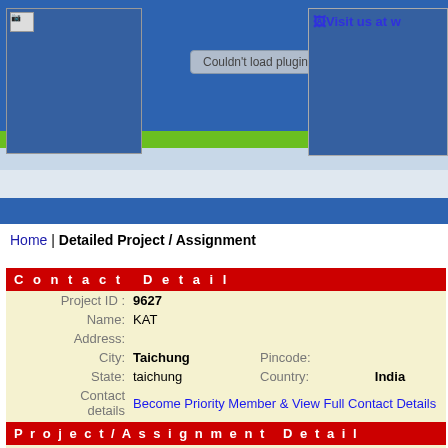[Figure (screenshot): Website header bar with blue background, logo placeholder showing broken image icon, 'Couldn't load plugin.' button, and 'Visit us at w...' link on right side]
Home | Detailed Project / Assignment
Contact Detail
| Project ID : | 9627 |
| Name: | KAT |
| Address: |  |
| City: | Taichung | Pincode: |  |
| State: | taichung | Country: | India |
| Contact details | Become Priority Member & View Full Contact Details |
Project/Assignment Detail
| Title: | Video Editor |
| Field: | Broadcasting / Cinema / Television / Music |
| Category: | Video / Film Production |
|  | Videotape Editor |
| Skills Required: | Experience in aesthetic video editing for travel/daily vlogs . Personal Youtube Channel |